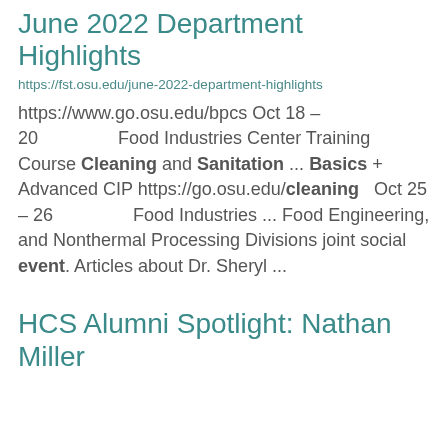June 2022 Department Highlights
https://fst.osu.edu/june-2022-department-highlights
https://www.go.osu.edu/bpcs Oct 18 – 20                    Food Industries Center Training Course Cleaning and Sanitation ... Basics + Advanced CIP https://go.osu.edu/cleaning   Oct 25 – 26                    Food Industries ... Food Engineering, and Nonthermal Processing Divisions joint social event. Articles about Dr. Sheryl ...
HCS Alumni Spotlight: Nathan Miller